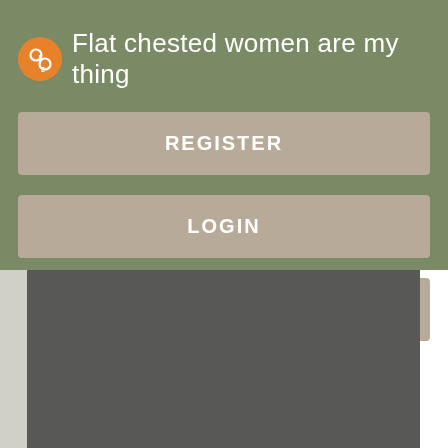Flat chested women are my thing
REGISTER
LOGIN
CONTACT US
[Figure (screenshot): Dark grey rectangular area below the menu buttons, representing a lower panel of a mobile app screen]